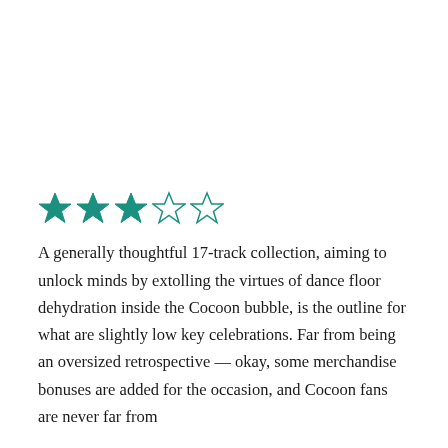[Figure (other): 3 out of 5 stars rating: three filled teal stars followed by two empty/outline stars]
A generally thoughtful 17-track collection, aiming to unlock minds by extolling the virtues of dance floor dehydration inside the Cocoon bubble, is the outline for what are slightly low key celebrations. Far from being an oversized retrospective — okay, some merchandise bonuses are added for the occasion, and Cocoon fans are never far from